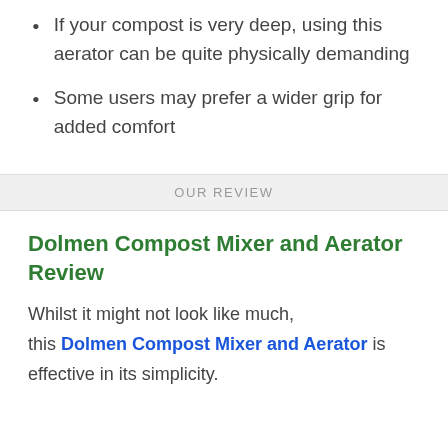If your compost is very deep, using this aerator can be quite physically demanding
Some users may prefer a wider grip for added comfort
OUR REVIEW
Dolmen Compost Mixer and Aerator Review
Whilst it might not look like much, this Dolmen Compost Mixer and Aerator is effective in its simplicity.